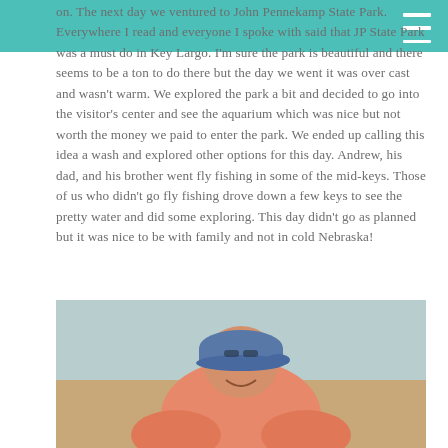on.  The next day we ventured to  John Pennekamp State Park.  Everywhere I read and everyone I spoke with said that JP State Park was a must do in Key Largo.  I'm sure the park is beautiful and there seems to be a ton to do there but the day we went it was over cast and wasn't warm.  We explored the park a bit and decided to go into the visitor's center and see the aquarium which was nice but not worth the money we paid to enter the park.  We ended up calling this idea a wash and explored other options for this day.  Andrew, his dad, and his brother went fly fishing in some of the mid-keys.  Those of us who didn't go fly fishing drove down a few keys to see the pretty water and did some exploring.  This day didn't go as planned but it was nice to be with family and not in cold Nebraska!
[Figure (photo): A man wearing a blue cap and pink/salmon shirt leaning forward, smiling, appearing to be on a boat or near water. Likely taken while fly fishing.]